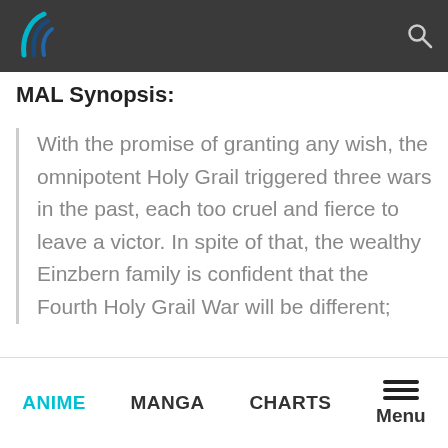MAL — top navigation bar with logo and search icon
MAL Synopsis:
With the promise of granting any wish, the omnipotent Holy Grail triggered three wars in the past, each too cruel and fierce to leave a victor. In spite of that, the wealthy Einzbern family is confident that the Fourth Holy Grail War will be different; namely, with a vessel of the Holy Grail now in their grasp. Solely for this reason, the much hated “Magus Killer” Kiritsugu Emiya is hired by the Einzberns, with marriage to their
ANIME   MANGA   CHARTS   Menu